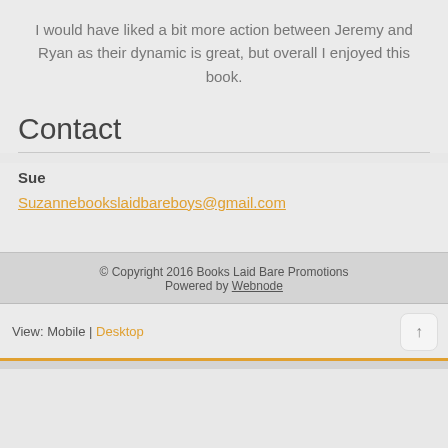I would have liked a bit more action between Jeremy and Ryan as their dynamic is great, but overall I enjoyed this book.
Contact
Sue
Suzannebookslaidbareboys@gmail.com
© Copyright 2016 Books Laid Bare Promotions
Powered by Webnode
View: Mobile | Desktop